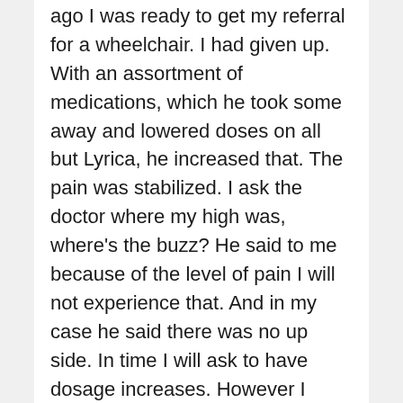ago I was ready to get my referral for a wheelchair. I had given up. With an assortment of medications, which he took some away and lowered doses on all but Lyrica, he increased that. The pain was stabilized. I ask the doctor where my high was, where's the buzz? He said to me because of the level of pain I will not experience that. And in my case he said there was no up side. In time I will ask to have dosage increases. However I have been able to go this whole period without asking for an increase in doseage. Ha, yet! And I'm 62, if someone says you'll get addicted. I will have to reply, so? From what I read I have been very lucky as to side effects. And when things do get worse I'll deal with it. But that pain, if I had it again I don't know what I'd do. And to have do deal with withdrawal. Maybe I do know what I'd